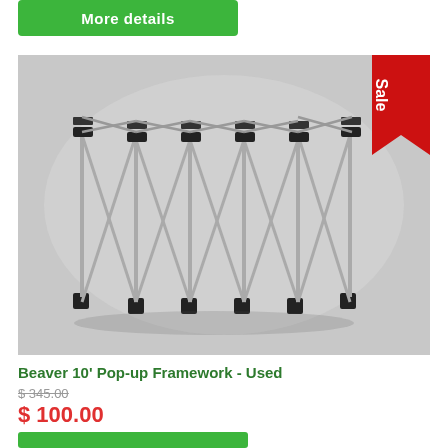[Figure (other): Green 'More details' button at top left]
[Figure (photo): Photo of a Beaver 10' Pop-up Framework (Used) — a collapsed accordion-style metal tent/canopy frame with black feet and connectors, photographed against a white/grey backdrop. A red 'Sale' ribbon badge appears in the top-right corner of the image.]
Beaver 10' Pop-up Framework - Used
$ 345.00
$ 100.00
[Figure (other): Green button at bottom (partial)]